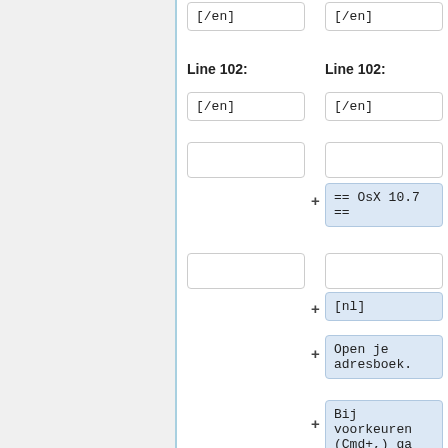[/en]
[/en]
Line 102:
Line 102:
[/en]
[/en]
== OsX 10.7 ==
[nl]
Open je adresboek.
Bij voorkeuren (Cmd+,) ga naar Accounts en klik op het